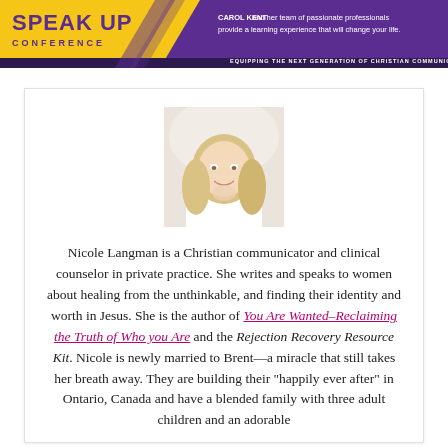[Figure (logo): Speak Up Conference banner with yellow and purple diagonal design. Text reads 'SPEAK UP CONFERENCE' on left, and 'CAROL KENT and her team of passionate professionals provide a learning experience that will change your life.' on right. Bottom reads 'EQUIPPING THE NEXT GENERATION OF CHRISTIAN COMMUNICATORS.']
[Figure (photo): Portrait photo of a smiling blonde woman with long hair, wearing a white top, resting her chin on her hand against a light background.]
Nicole Langman is a Christian communicator and clinical counselor in private practice. She writes and speaks to women about healing from the unthinkable, and finding their identity and worth in Jesus. She is the author of You Are Wanted–Reclaiming the Truth of Who you Are and the Rejection Recovery Resource Kit. Nicole is newly married to Brent—a miracle that still takes her breath away. They are building their "happily ever after" in Ontario, Canada and have a blended family with three adult children and an adorable